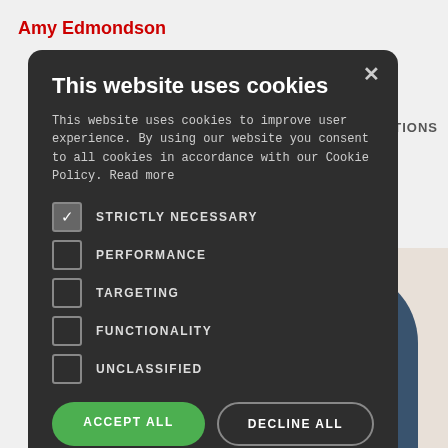Amy Edmondson
[Figure (screenshot): Cookie consent modal dialog on a dark background overlay. Contains title 'This website uses cookies', description text, checkboxes for STRICTLY NECESSARY (checked), PERFORMANCE, TARGETING, FUNCTIONALITY, UNCLASSIFIED, and buttons ACCEPT ALL and DECLINE ALL, plus SHOW DETAILS link.]
This website uses cookies
This website uses cookies to improve user experience. By using our website you consent to all cookies in accordance with our Cookie Policy. Read more
STRICTLY NECESSARY
PERFORMANCE
TARGETING
FUNCTIONALITY
UNCLASSIFIED
ACCEPT ALL
DECLINE ALL
SHOW DETAILS